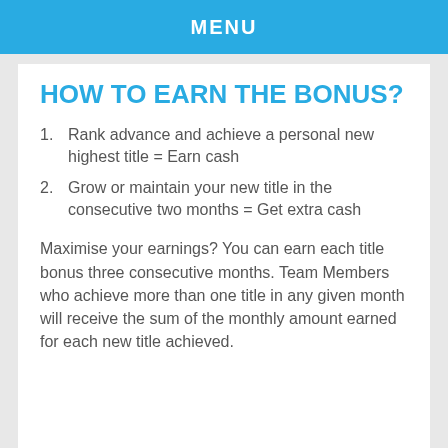MENU
HOW TO EARN THE BONUS?
1.   Rank advance and achieve a personal new highest title = Earn cash
2.   Grow or maintain your new title in the consecutive two months = Get extra cash
Maximise your earnings? You can earn each title bonus three consecutive months. Team Members who achieve more than one title in any given month will receive the sum of the monthly amount earned for each new title achieved.